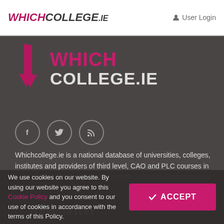WHICHCOLLEGE.IE  User Login
[Figure (logo): WhichCollege.ie logo with pink arrow icon and two-tone text on dark background]
[Figure (illustration): Three circular social media icons: Facebook (f), Twitter (bird), RSS feed]
Whichcollege.ie is a national database of universities, colleges, institutes and providers of third level, CAO and PLC courses in Ireland. We operate a national search database of courses and colleges.
Newsletter
We use cookies on our website. By using our website you agree to this Cookie Policy and you consent to our use of cookies in accordance with the terms of this Policy.